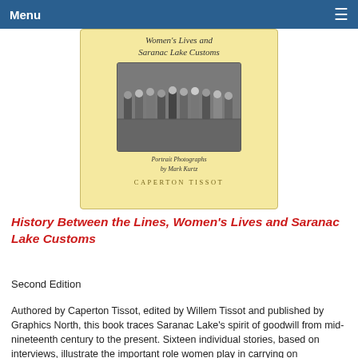Menu ≡
[Figure (photo): Book cover for 'History Between the Lines, Women's Lives and Saranac Lake Customs' by Caperton Tissot. Light yellow cover with serif italic title text, an oval image of a clock tower, a group photograph of approximately 13 women, text reading 'Portrait Photographs by Mark Kurtz', and the author name CAPERTON TISSOT in spaced gold caps.]
History Between the Lines, Women's Lives and Saranac Lake Customs
Second Edition
Authored by Caperton Tissot, edited by Willem Tissot and published by Graphics North, this book traces Saranac Lake's spirit of goodwill from mid-nineteenth century to the present. Sixteen individual stories, based on interviews, illustrate the important role women play in carrying on